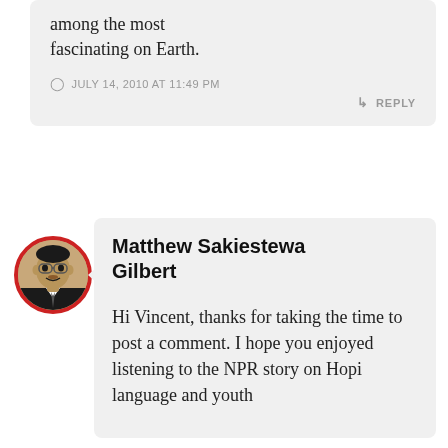among the most fascinating on Earth.
JULY 14, 2010 AT 11:49 PM
REPLY
Matthew Sakiestewa Gilbert
Hi Vincent, thanks for taking the time to post a comment. I hope you enjoyed listening to the NPR story on Hopi language and youth